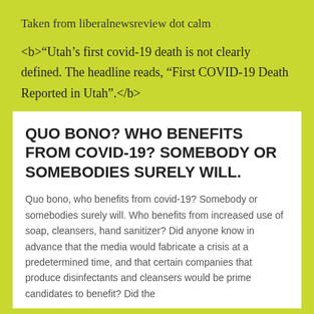Taken from liberalnewsreview dot calm
<b>“Utah’s first covid-19 death is not clearly defined. The headline reads, “First COVID-19 Death Reported in Utah”.</b>
QUO BONO? WHO BENEFITS FROM COVID-19? SOMEBODY OR SOMEBODIES SURELY WILL.
Quo bono, who benefits from covid-19? Somebody or somebodies surely will. Who benefits from increased use of soap, cleansers, hand sanitizer? Did anyone know in advance that the media would fabricate a crisis at a predetermined time, and that certain companies that produce disinfectants and cleansers would be prime candidates to benefit? Did the